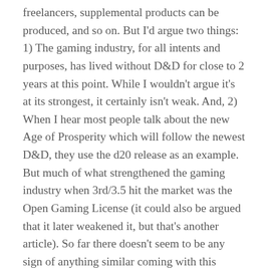freelancers, supplemental products can be produced, and so on. But I'd argue two things: 1) The gaming industry, for all intents and purposes, has lived without D&D for close to 2 years at this point. While I wouldn't argue it's at its strongest, it certainly isn't weak. And, 2) When I hear most people talk about the new Age of Prosperity which will follow the newest D&D, they use the d20 release as an example. But much of what strengthened the gaming industry when 3rd/3.5 hit the market was the Open Gaming License (it could also be argued that it later weakened it, but that's another article). So far there doesn't seem to be any sign of anything similar coming with this edition, so I don't think the effect will be as monumental as some hope.
Okay, those are some of my off-the-cuff thoughts about the new D&D. What do you think? Are you